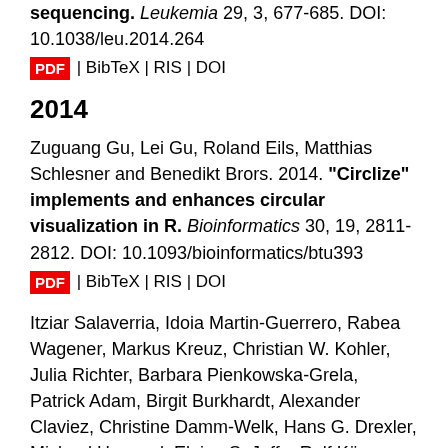sequencing. Leukemia 29, 3, 677-685. DOI: 10.1038/leu.2014.264
PDF | BibTeX | RIS | DOI
2014
Zuguang Gu, Lei Gu, Roland Eils, Matthias Schlesner and Benedikt Brors. 2014. "Circlize" implements and enhances circular visualization in R. Bioinformatics 30, 19, 2811-2812. DOI: 10.1093/bioinformatics/btu393
PDF | BibTeX | RIS | DOI
Itziar Salaverria, Idoia Martin-Guerrero, Rabea Wagener, Markus Kreuz, Christian W. Kohler, Julia Richter, Barbara Pienkowska-Grela, Patrick Adam, Birgit Burkhardt, Alexander Claviez, Christine Damm-Welk, Hans G. Drexler, Michael Hummel, Elaine S. Jaffe, Ralf Küppers, Christine Lefebvre, Jasmin Lisfeld, Markus Löffler, Roderick A. F. MacLennan, Ivo Natelkka, Gudding, Morisi...